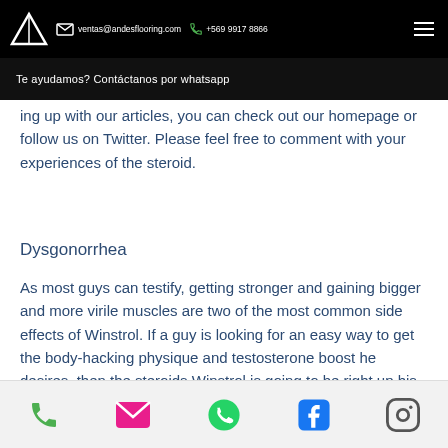ventas@andesflooring.com  +569 9917 8866
Te ayudamos? Contáctanos por whatsapp
ing up with our articles, you can check out our homepage or follow us on Twitter. Please feel free to comment with your experiences of the steroid.
Dysgonorrhea
As most guys can testify, getting stronger and gaining bigger and more virile muscles are two of the most common side effects of Winstrol. If a guy is looking for an easy way to get the body-hacking physique and testosterone boost he desires, then the steroids Winstrol is going to be right up his alley.